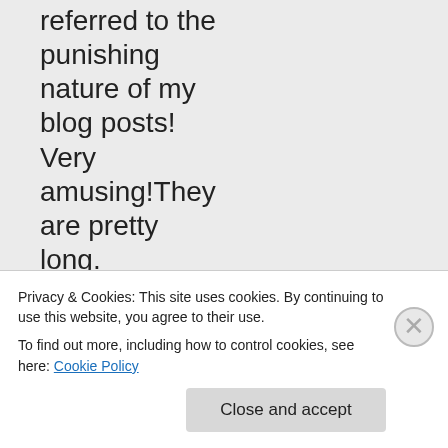referred to the punishing nature of my blog posts! Very amusing!They are pretty long.
★ Like
Log in to Reply
Privacy & Cookies: This site uses cookies. By continuing to use this website, you agree to their use.
To find out more, including how to control cookies, see here: Cookie Policy
Close and accept